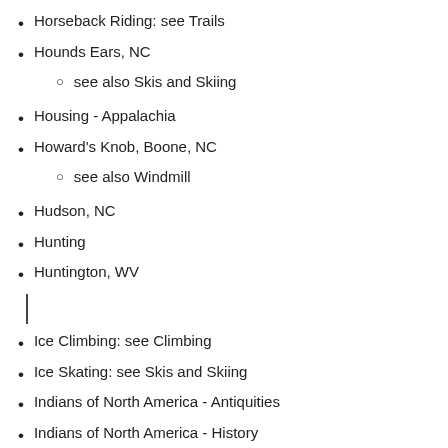Horseback Riding: see Trails
Hounds Ears, NC
see also Skis and Skiing
Housing - Appalachia
Howard's Knob, Boone, NC
see also Windmill
Hudson, NC
Hunting
Huntington, WV
Ice Climbing: see Climbing
Ice Skating: see Skis and Skiing
Indians of North America - Antiquities
Indians of North America - History
Industry
Invershield, Linville, NC